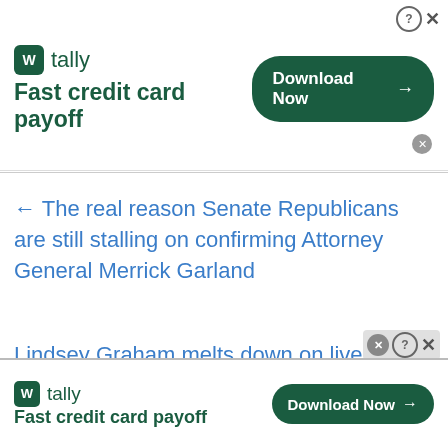[Figure (screenshot): Tally app advertisement banner at top with green logo, 'Fast credit card payoff' tagline, and green 'Download Now' button with arrow]
← The real reason Senate Republicans are still stalling on confirming Attorney General Merrick Garland
Lindsey Graham melts down on live national television →
[Figure (screenshot): Red rounded button with bold black text 'Help Palmer' and partial text 'Report' below]
[Figure (screenshot): Tally app advertisement banner at bottom with green logo, 'Fast credit card payoff' tagline, and green 'Download Now' button with arrow]